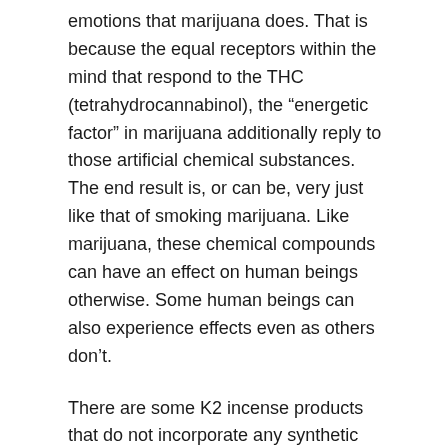emotions that marijuana does. That is because the equal receptors within the mind that respond to the THC (tetrahydrocannabinol), the "energetic factor" in marijuana additionally reply to those artificial chemical substances. The end result is, or can be, very just like that of smoking marijuana. Like marijuana, these chemical compounds can have an effect on human beings otherwise. Some human beings can also experience effects even as others don't.
There are some K2 incense products that do not incorporate any synthetic chemical substances; instead, the herbs or botanicals used inside the mixture can also produce sensations of their own in a few people. One of the products that do not incorporate artificial chemical compounds is Epimedium. It's more commonplace name is Horny Goat Weed. That aspect is observed within the "SolidSex" logo of K2 herb products and comparable brands.